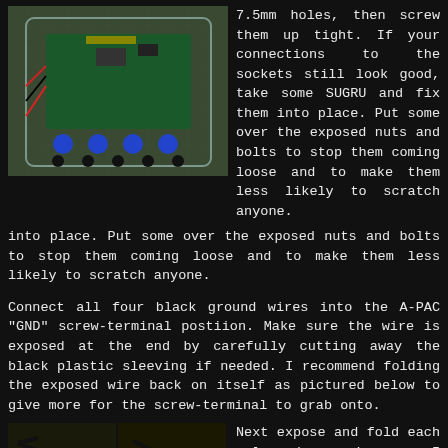[Figure (photo): PCB/electronics board in a clear plastic container on a green cutting mat, with blue capacitors and wires visible]
7.5mm holes, then screw them up tight. If your connections to the sockets still look good, take some SUGRU and fix them into place. Put some over the exposed nuts and bolts to stop them coming loose and to make them less likely to scratch anyone.
Connect all four black ground wires into the A-PAC "GND" screw-terminal postiion. Make sure the wire is exposed at the end by carefully cutting away the black plastic sleeving if needed. I recommend folding the exposed wire back on itself as pictured below to give more for the screw-terminal to grab onto.
[Figure (photo): Two photos side by side showing wire preparation steps on a dark surface]
Next expose and fold each coloured wire. I recommend